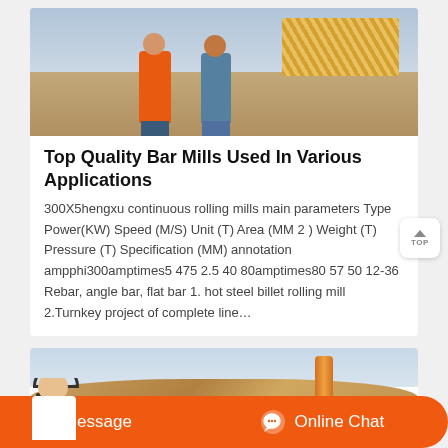[Figure (photo): Two workers posing outdoors at an industrial construction site. One wearing an orange safety vest, the other in a blue work shirt. Industrial equipment visible in background.]
Top Quality Bar Mills Used In Various Applications
300X5hengxu continuous rolling mills main parameters Type Power(KW) Speed (M/S) Unit (T) Area (MM 2 ) Weight (T) Pressure (T) Specification (MM) annotation ampphi300amptimes5 475 2.5 40 80amptimes80 57 50 12-36 Rebar, angle bar, flat bar 1. hot steel billet rolling mill 2.Turnkey project of complete line…
[Figure (photo): Outdoor industrial scene with large earthen mounds/terrain and a yellow cylindrical pole or equipment piece in the right portion of the image.]
Message   Online Chat